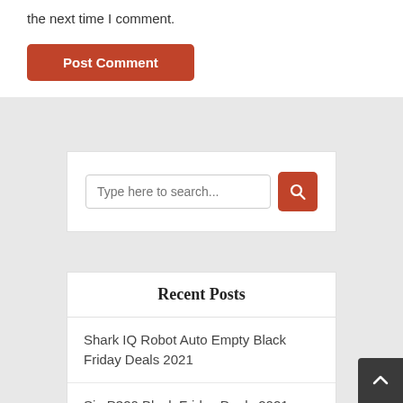the next time I comment.
Post Comment
Type here to search...
Recent Posts
Shark IQ Robot Auto Empty Black Friday Deals 2021
Sig P320 Black Friday Deals 2021
Surface Pro 7 256gb Black Friday Deals 2021